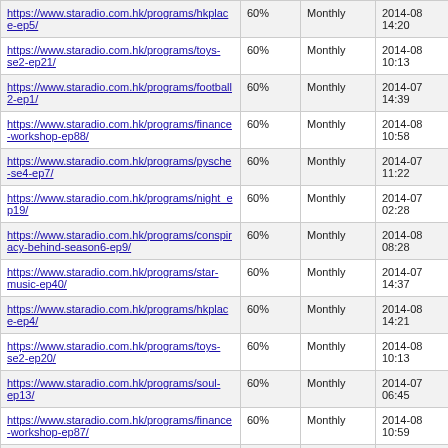| https://www.staradio.com.hk/programs/hkplace-ep5/ | 60% | Monthly | 2014-08 14:20 |
| https://www.staradio.com.hk/programs/toys-se2-ep21/ | 60% | Monthly | 2014-08 10:13 |
| https://www.staradio.com.hk/programs/football2-ep1/ | 60% | Monthly | 2014-07 14:39 |
| https://www.staradio.com.hk/programs/finance-workshop-ep88/ | 60% | Monthly | 2014-08 10:58 |
| https://www.staradio.com.hk/programs/pysche-se4-ep7/ | 60% | Monthly | 2014-07 11:22 |
| https://www.staradio.com.hk/programs/night_ep19/ | 60% | Monthly | 2014-07 02:28 |
| https://www.staradio.com.hk/programs/conspiracy-behind-season6-ep9/ | 60% | Monthly | 2014-08 08:28 |
| https://www.staradio.com.hk/programs/star-music-ep40/ | 60% | Monthly | 2014-07 14:37 |
| https://www.staradio.com.hk/programs/hkplace-ep4/ | 60% | Monthly | 2014-08 14:21 |
| https://www.staradio.com.hk/programs/toys-se2-ep20/ | 60% | Monthly | 2014-08 10:13 |
| https://www.staradio.com.hk/programs/soul-ep13/ | 60% | Monthly | 2014-07 06:45 |
| https://www.staradio.com.hk/programs/finance-workshop-ep87/ | 60% | Monthly | 2014-08 10:59 |
| https://www.staradio.com.hk/programs/pysche-se4-... | 60% | Monthly | 2014-07 ... |